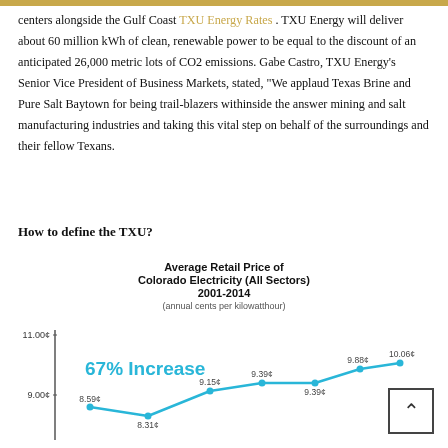centers alongside the Gulf Coast TXU Energy Rates . TXU Energy will deliver about 60 million kWh of clean, renewable power to be equal to the discount of an anticipated 26,000 metric lots of CO2 emissions. Gabe Castro, TXU Energy's Senior Vice President of Business Markets, stated, "We applaud Texas Brine and Pure Salt Baytown for being trail-blazers withinside the answer mining and salt manufacturing industries and taking this vital step on behalf of the surroundings and their fellow Texans.
How to define the TXU?
[Figure (line-chart): Average Retail Price of Colorado Electricity (All Sectors) 2001-2014]